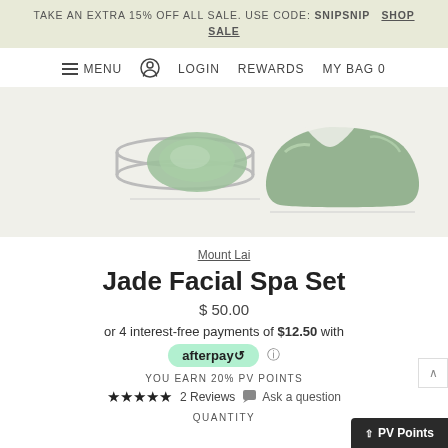TAKE AN EXTRA 15% OFF ALL SALE. USE CODE: SNIPSNIP  SHOP SALE
≡ MENU  ⊕  LOGIN  REWARDS  MY BAG 0
[Figure (photo): Two jade facial spa tools on a light background: a jade ring roller on the left and a jade gua sha stone on the right]
Mount Lai
Jade Facial Spa Set
$ 50.00
or 4 interest-free payments of $12.50 with afterpay ℹ
YOU EARN 20% PV POINTS
★★★★★ 2 Reviews  💬 Ask a question
QUANTITY